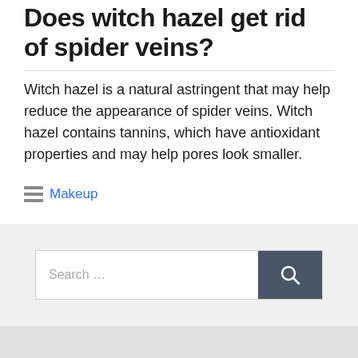Does witch hazel get rid of spider veins?
Witch hazel is a natural astringent that may help reduce the appearance of spider veins. Witch hazel contains tannins, which have antioxidant properties and may help pores look smaller.
Categories: Makeup